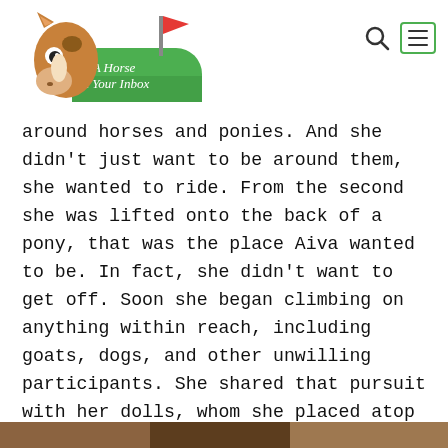[Figure (logo): A Horse in Your Inbox logo: cartoon horse peeking out of a green mailbox with a red flag]
around horses and ponies. And she didn't just want to be around them, she wanted to ride. From the second she was lifted onto the back of a pony, that was the place Aiva wanted to be. In fact, she didn't want to get off. Soon she began climbing on anything within reach, including goats, dogs, and other unwilling participants. She shared that pursuit with her dolls, whom she placed atop anything that moved so they too could experience the joy of riding.
[Figure (photo): Partial photo strip at the bottom of the page]